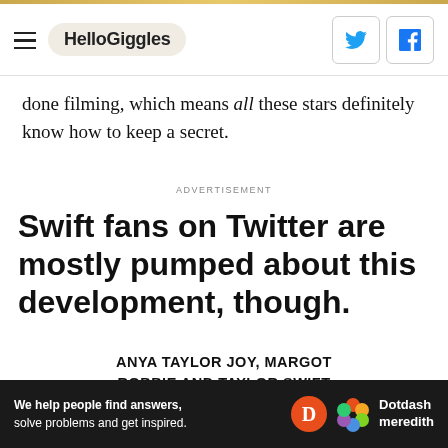HelloGiggles
done filming, which means all these stars definitely know how to keep a secret.
ADVERTISEMENT
Swift fans on Twitter are mostly pumped about this development, though.
ANYA TAYLOR JOY, MARGOT ROBBIE AND TAYLOR SWIFT IN A MOVIE TOGETHER??
[Figure (other): Dotdash Meredith advertisement banner with text: We help people find answers, solve problems and get inspired.]